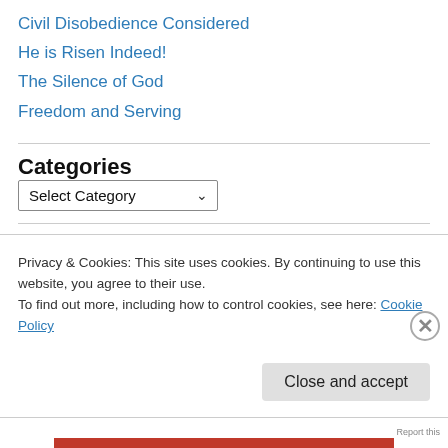Civil Disobedience Considered
He is Risen Indeed!
The Silence of God
Freedom and Serving
Categories
Select Category (dropdown)
Tags
Privacy & Cookies: This site uses cookies. By continuing to use this website, you agree to their use.
To find out more, including how to control cookies, see here: Cookie Policy
Close and accept